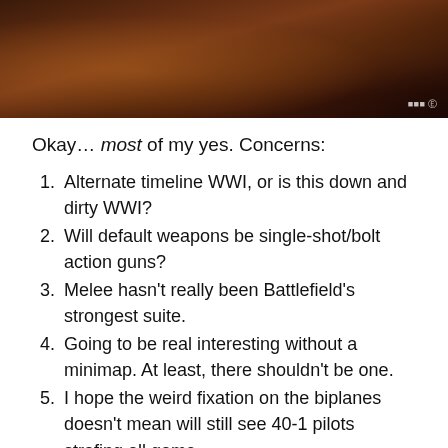[Figure (photo): Dark reddish-brown game screenshot showing a WWI soldier figure, with an EA/DICE watermark in the bottom right corner.]
Okay… most of my yes. Concerns:
1. Alternate timeline WWI, or is this down and dirty WWI?
2. Will default weapons be single-shot/bolt action guns?
3. Melee hasn't really been Battlefield's strongest suite.
4. Going to be real interesting without a minimap. At least, there shouldn't be one.
5. I hope the weird fixation on the biplanes doesn't mean will still see 40-1 pilots strafing all game.
6. There might be some cannibalization via BF4 due to the (presumed) extreme gameplay shift.
I got into the series with Battlefield 2 and that remains my favorite to this day. So without any of the Battlefield 1942